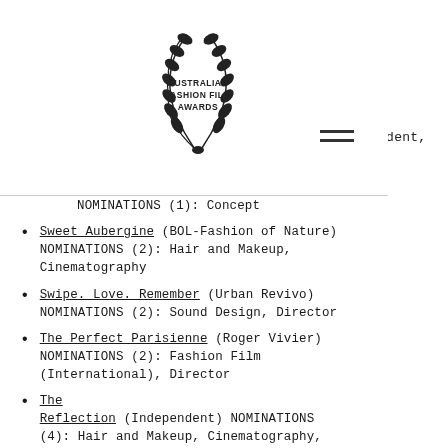[Figure (logo): Australian Fashion Film Awards laurel wreath logo with text AUSTRALIAN FASHION FILM AWARDS in center]
NOMINATIONS (1): Concept
Sweet Aubergine (BOL-Fashion of Nature) NOMINATIONS (2): Hair and Makeup, Cinematography
Swipe. Love. Remember (Urban Revivo) NOMINATIONS (2): Sound Design, Director
The Perfect Parisienne (Roger Vivier) NOMINATIONS (2): Fashion Film (International), Director
The Reflection (Independent) NOMINATIONS (4): Hair and Makeup, Cinematography, Independent, Director
The Wedding (Westfield) NOMINATIONS